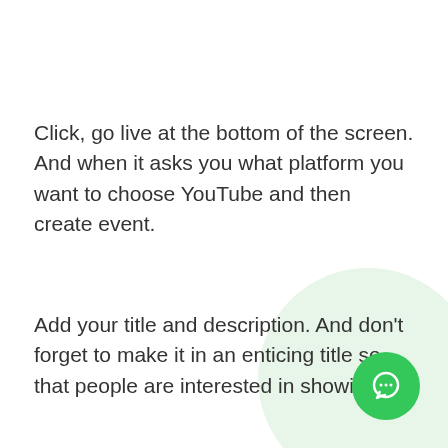Click, go live at the bottom of the screen. And when it asks you what platform you want to choose YouTube and then create event.
Add your title and description. And don't forget to make it in an enticing title so that people are interested in showing up.
Where it says access, go ahead and choose public private or unlisted and then click go live for the time at the bottom of the screen and that's it.
[Figure (illustration): Green circular chat/support button icon in bottom-right corner with a light green decorative circle behind it]